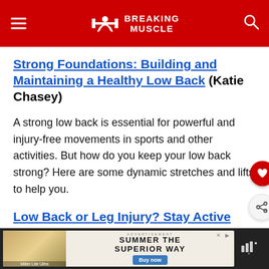Breaking Muscle
Strong Foundations: Building and Maintaining a Healthy Low Back (Katie Chasey)
A strong low back is essential for powerful and injury-free movements in sports and other activities. But how do you keep your low back strong? Here are some dynamic stretches and lifts to help you.
Low Back or Leg Injury? Stay Active With Modified Sun Salutations (Willow Ryan)
[Figure (other): Advertisement banner: Miller Lite Ultra beer advertisement with text 'SUMMER THE SUPERIOR WAY' and a 'Buy now' button]
Do...